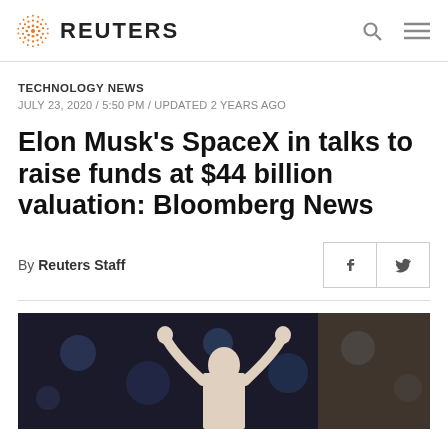REUTERS
TECHNOLOGY NEWS
JULY 23, 2020 / 5:50 PM / UPDATED 2 YEARS AGO
Elon Musk's SpaceX in talks to raise funds at $44 billion valuation: Bloomberg News
By Reuters Staff
[Figure (photo): Person with arms raised in celebration against a dark background with bokeh lights]